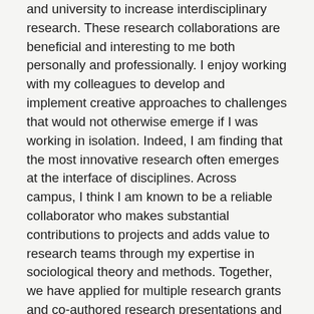and university to increase interdisciplinary research. These research collaborations are beneficial and interesting to me both personally and professionally. I enjoy working with my colleagues to develop and implement creative approaches to challenges that would not otherwise emerge if I was working in isolation. Indeed, I am finding that the most innovative research often emerges at the interface of disciplines. Across campus, I think I am known to be a reliable collaborator who makes substantial contributions to projects and adds value to research teams through my expertise in sociological theory and methods. Together, we have applied for multiple research grants and co-authored research presentations and manuscripts. I have truly enjoyed these experiences!
CW: How do you balance teaching and research?
Mobley: I view both as inevitably intertwined with one